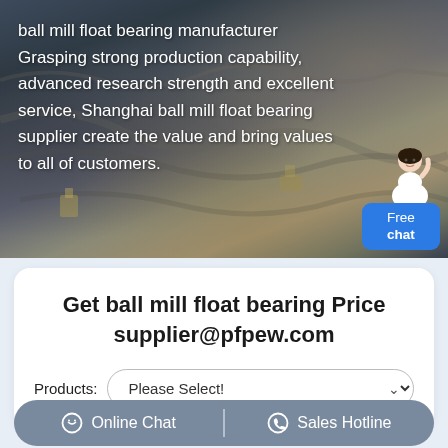[Figure (photo): Aerial view of a large open-pit mine or quarry with heavy machinery, dark grey rocky terrain with construction equipment visible, with white overlay text and a chat widget in the bottom right corner.]
ball mill float bearing manufacturer Grasping strong production capability, advanced research strength and excellent service, Shanghai ball mill float bearing supplier create the value and bring values to all of customers.
Get ball mill float bearing Price supplier@pfpew.com
Products: Please Select!
Online Chat | Sales Hotline